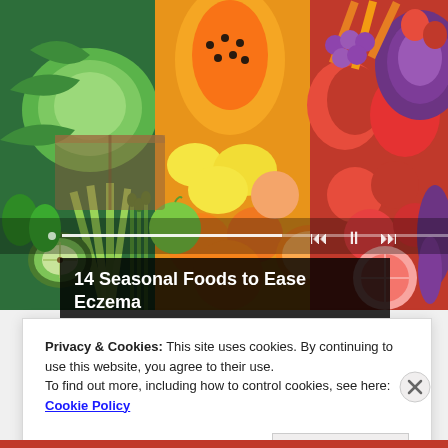[Figure (photo): Colorful rainbow array of fresh fruits and vegetables including green cabbage, kiwi, celery, peppers, oranges, lemons, tomatoes, red bell peppers, grapes, purple cabbage, eggplant, carrots, strawberries and more arranged in a flat lay pattern]
14 Seasonal Foods to Ease Eczema Inflammation
Privacy & Cookies: This site uses cookies. By continuing to use this website, you agree to their use.
To find out more, including how to control cookies, see here: Cookie Policy
Close and accept